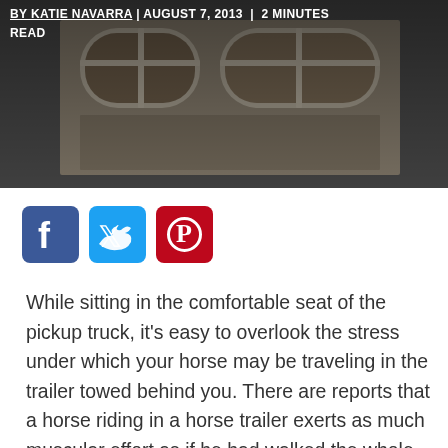[Figure (photo): Photo of a horse trailer window/vent on the side of a trailer, dark background, rusty metal with oval window openings]
BY KATIE NAVARRA | AUGUST 7, 2013 | 2 MINUTES READ
[Figure (infographic): Social media share buttons: Facebook (blue), Twitter (light blue), Pinterest (red)]
While sitting in the comfortable seat of the pickup truck, it's easy to overlook the stress under which your horse may be traveling in the trailer towed behind you. There are reports that a horse riding in a horse trailer exerts as much muscular effort as if he had walked the whole way. In addition, a long-distance haul is fraught with insults to the horse's respiratory tract and immune system, as